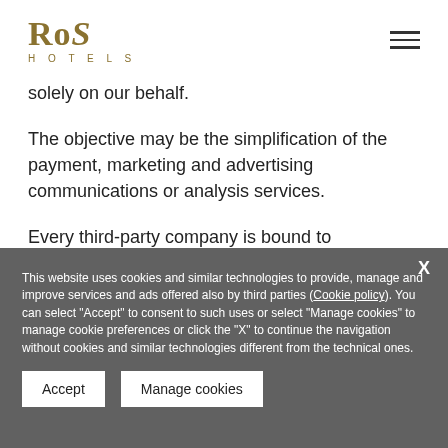[Figure (logo): RoS Hotels logo with gold text]
solely on our behalf.
The objective may be the simplification of the payment, marketing and advertising communications or analysis services.
Every third-party company is bound to confidentiality agreements and are prohibited from using your personal data for their own or other purposes.
This website uses cookies and similar technologies to provide, manage and improve services and ads offered also by third parties (Cookie policy). You can select "Accept" to consent to such uses or select "Manage cookies" to manage cookie preferences or click the "X" to continue the navigation without cookies and similar technologies different from the technical ones.